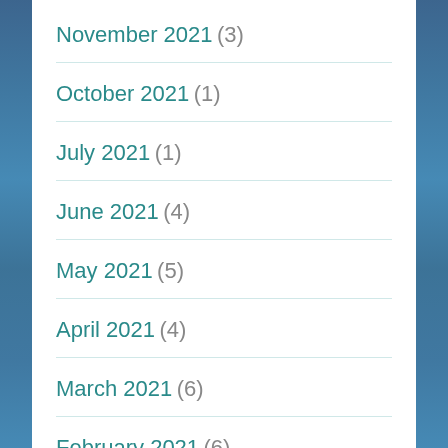November 2021 (3)
October 2021 (1)
July 2021 (1)
June 2021 (4)
May 2021 (5)
April 2021 (4)
March 2021 (6)
February 2021 (6)
January 2021 (8)